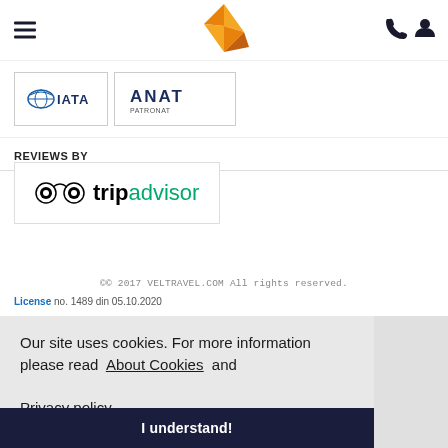Veltravel navigation bar with hamburger menu, bird logo, phone and user icons
[Figure (logo): IATA and ANAT partner logos]
REVIEWS BY
[Figure (logo): TripAdvisor logo]
©© 2017 VELTRAVEL.COM All rights reserved.
License no. 1489 din 05.10.2020
Our site uses cookies. For more information please read About Cookies and Privacy policy
I understand!